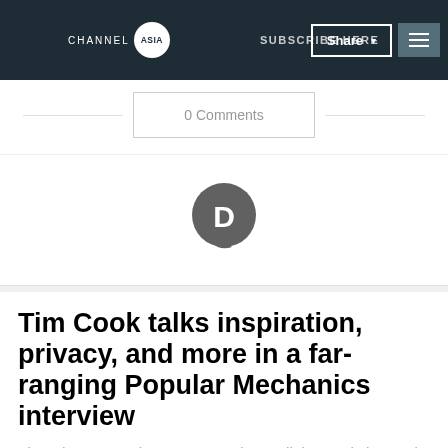CHANNEL ASIA | SUBSCRIBE HERE | Share | Menu
0 Comments
[Figure (logo): Disqus logo - grey speech bubble with letter D]
Tim Cook talks inspiration, privacy, and more in a far-ranging Popular Mechanics interview
Though many topics are covered, very little new is learned from this Q&A.